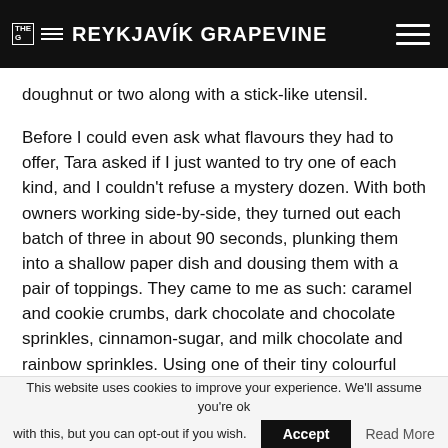THE REYKJAVÍK GRAPEVINE
doughnut or two along with a stick-like utensil.
Before I could even ask what flavours they had to offer, Tara asked if I just wanted to try one of each kind, and I couldn't refuse a mystery dozen. With both owners working side-by-side, they turned out each batch of three in about 90 seconds, plunking them into a shallow paper dish and dousing them with a pair of toppings. They came to me as such: caramel and cookie crumbs, dark chocolate and chocolate sprinkles, cinnamon-sugar, and milk chocolate and rainbow sprinkles. Using one of their tiny colourful forks to shove them into my facehole,
This website uses cookies to improve your experience. We'll assume you're ok with this, but you can opt-out if you wish. Accept Read More